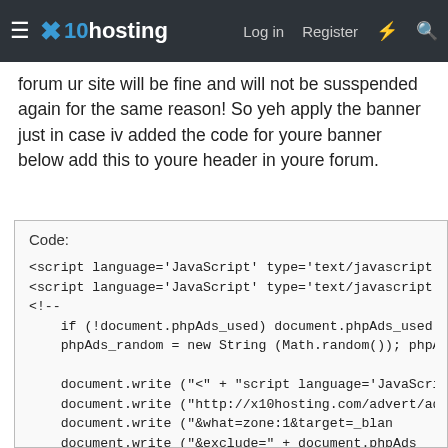≡ x10hosting  Log in  Register  ⚡  🔍
forum ur site will be fine and will not be susspended again for the same reason! So yeh apply the banner just in case iv added the code for youre banner below add this to youre header in youre forum.
Code:
<script language='JavaScript' type='text/javascript'
<script language='JavaScript' type='text/javascript'>
<!--
    if (!document.phpAds_used) document.phpAds_used =
    phpAds_random = new String (Math.random()); phpAds

    document.write ("<" + "script language='JavaScript
    document.write ("http://x10hosting.com/advert/adjs
    document.write ("&amp;what=zone:1&amp;target=_blan
    document.write ("&amp;exclude=" + document.phpAds_
    if (document.referrer)
        document.write ("&amp;referer=" + escape(docume
    document.write ("'><" + "/script>");
//-->